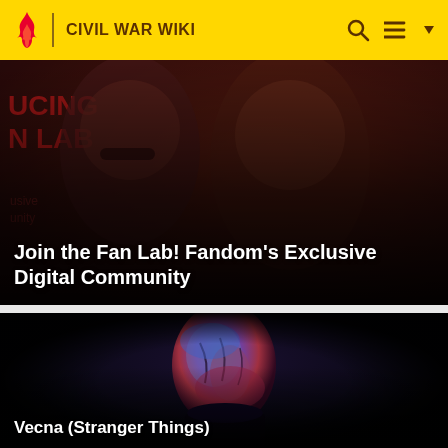CIVIL WAR WIKI
[Figure (photo): Two characters in dark, dramatic lighting. A young woman with sunglasses and braided hair and a young man looking upward, with text 'UCING N LAB' partially visible on the left. Promotional image for Fandom's Fan Lab.]
Join the Fan Lab! Fandom's Exclusive Digital Community
[Figure (photo): Close-up of Vecna from Stranger Things — a grotesque, dark humanoid creature with disfigured head, lit in blue and red tones against a very dark background.]
Vecna (Stranger Things)